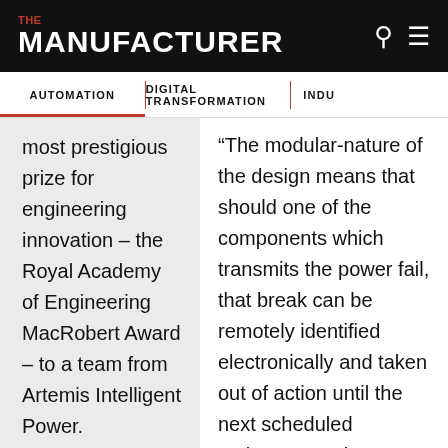THE MANUFACTURER
AUTOMATION | DIGITAL TRANSFORMATION | INDU…
most prestigious prize for engineering innovation – the Royal Academy of Engineering MacRobert Award – to a team from Artemis Intelligent Power.

Renowned for highlighting the
“The modular-nature of the design means that should one of the components which transmits the power fail, that break can be remotely identified electronically and taken out of action until the next scheduled maintenance, but crucially the turbine continues operating,”